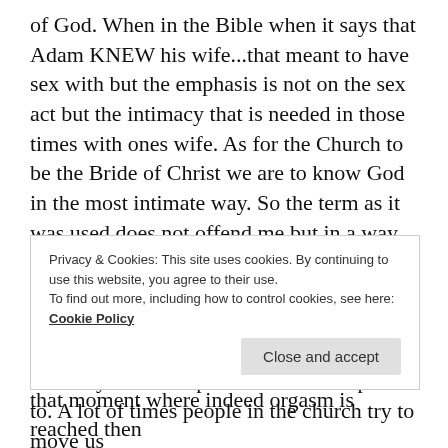of God. When in the Bible when it says that Adam KNEW his wife...that meant to have sex with but the emphasis is not on the sex act but the intimacy that is needed in those times with ones wife. As for the Church to be the Bride of Christ we are to know God in the most intimate way. So the term as it was used does not offend me but in a way is the best, if harsh sounding way, to describe these moments....What needs to be understood is also how these wild ecstatic moments usher the believer into an intimacy of worship that cant be compared to. A lot of times people in the church try to move us
Privacy & Cookies: This site uses cookies. By continuing to use this website, you agree to their use. To find out more, including how to control cookies, see here: Cookie Policy
Close and accept
that moment where indeed orgasm is reached then